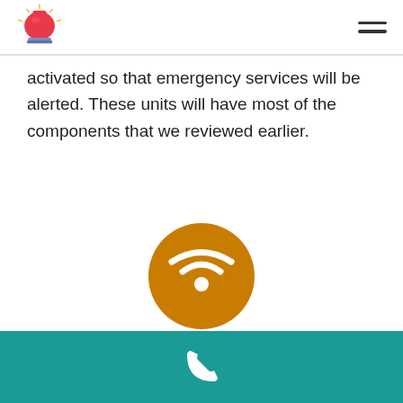Alarm logo and navigation menu
activated so that emergency services will be alerted. These units will have most of the components that we reviewed earlier.
[Figure (illustration): Wi-Fi / wireless signal icon — white wifi symbol on an amber/golden-orange circular background]
Wireless Alarm Systems
[Figure (illustration): White telephone handset icon on a teal/dark cyan background footer bar]